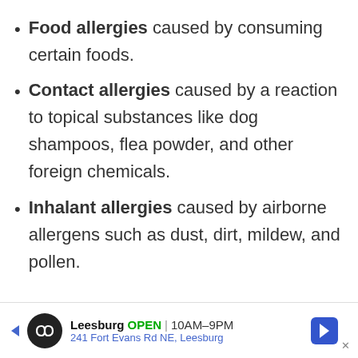Food allergies caused by consuming certain foods.
Contact allergies caused by a reaction to topical substances like dog shampoos, flea powder, and other foreign chemicals.
Inhalant allergies caused by airborne allergens such as dust, dirt, mildew, and pollen.
Ear Infections
Leesburg OPEN 10AM–9PM 241 Fort Evans Rd NE, Leesburg